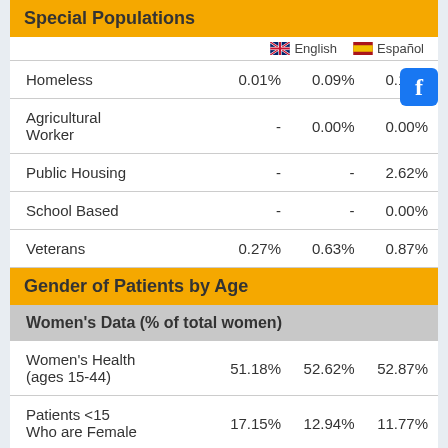Special Populations
|  | English | Español |
| --- | --- | --- |
| Homeless | 0.01% | 0.09% | 0.16% |
| Agricultural Worker | - | 0.00% | 0.00% |
| Public Housing | - | - | 2.62% |
| School Based | - | - | 0.00% |
| Veterans | 0.27% | 0.63% | 0.87% |
Gender of Patients by Age
Women's Data (% of total women)
|  |  |  |  |
| --- | --- | --- | --- |
| Women's Health (ages 15-44) | 51.18% | 52.62% | 52.87% |
| Patients <15 Who are Female | 17.15% | 12.94% | 11.77% |
| Patients 15-64 | 78.44% | 82.22% | 82.85% |